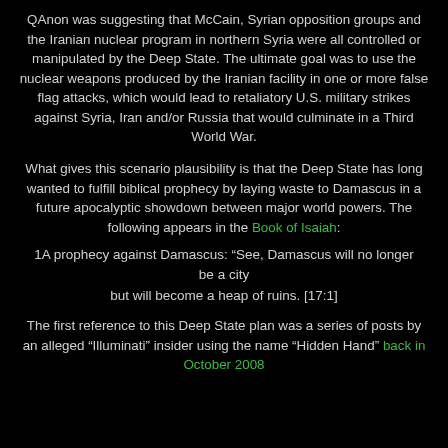QAnon was suggesting that McCain, Syrian opposition groups and the Iranian nuclear program in northern Syria were all controlled or manipulated by the Deep State. The ultimate goal was to use the nuclear weapons produced by the Iranian facility in one or more false flag attacks, which would lead to retaliatory U.S. military strikes against Syria, Iran and/or Russia that would culminate in a Third World War.
What gives this scenario plausibility is that the Deep State has long wanted to fulfill biblical prophecy by laying waste to Damascus in a future apocalyptic showdown between major world powers. The following appears in the Book of Isaiah:
1A prophecy against Damascus: "See, Damascus will no longer be a city but will become a heap of ruins. [17:1]
The first reference to this Deep State plan was a series of posts by an alleged “Illuminati” insider using the name “Hidden Hand” back in October 2008